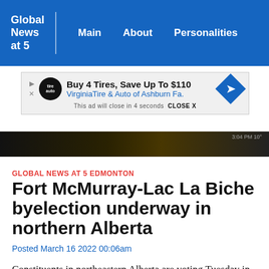Global News at 5 | Main | About | Personalities
[Figure (screenshot): Advertisement banner: Buy 4 Tires, Save Up To $110 – Virginia Tire & Auto of Ashburn Fa. This ad will close in 4 seconds CLOSE X]
[Figure (photo): Partial video thumbnail showing a dark scene with a yellow element visible]
GLOBAL NEWS AT 5 EDMONTON
Fort McMurray-Lac La Biche byelection underway in northern Alberta
Posted March 16 2022 00:06am
Constituents in northeastern Alberta are voting Tuesday in the Fort McMurray-Lac La Biche byelection. Tom Vernon reports.